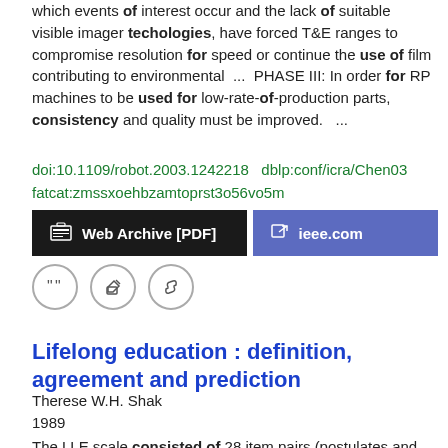which events of interest occur and the lack of suitable visible imager techologies, have forced T&E ranges to compromise resolution for speed or continue the use of film contributing to environmental  ...  PHASE III: In order for RP machines to be used for low-rate-of-production parts, consistency and quality must be improved.  ...
doi:10.1109/robot.2003.1242218  dblp:conf/icra/Chen03
fatcat:zmssxoehbzamtoprst3o56vo5m
[Figure (other): Two buttons: 'Web Archive [PDF]' (dark background) and 'ieee.com' (purple background), followed by three icon buttons (quote, edit, link)]
Lifelong education : definition, agreement and prediction
Therese W.H. Shak
1989
The LLE scale consisted of 28 item pairs (postulates and contrasts). Total scores were derived by summing over items.  ...  This is because its central components are not well identified and it calls for a restructuring of education systems.  ...  Experts were used to